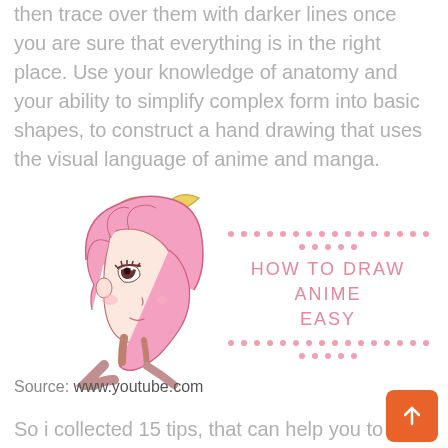then trace over them with darker lines once you are sure that everything is in the right place. Use your knowledge of anatomy and your ability to simplify complex form into basic shapes, to construct a hand drawing that uses the visual language of anime and manga.
[Figure (illustration): Anime-style girl with pink hair and a yellow bow hair accessory, shown from a side/three-quarter view. Overlaid with decorative pink dotted lines and the text 'HOW TO DRAW ANIME EASY' in pink uppercase letters.]
Source: www.youtube.com
So i collected 15 tips, that can help you to improve. Use either the glove/mitten method or